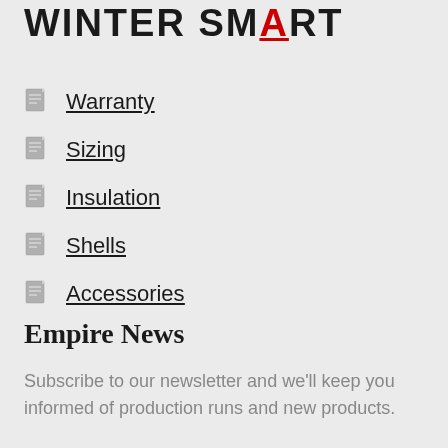WINTER SMART
Warranty
Sizing
Insulation
Shells
Accessories
Empire News
Subscribe to our newsletter and we'll keep you informed of production runs and new products.